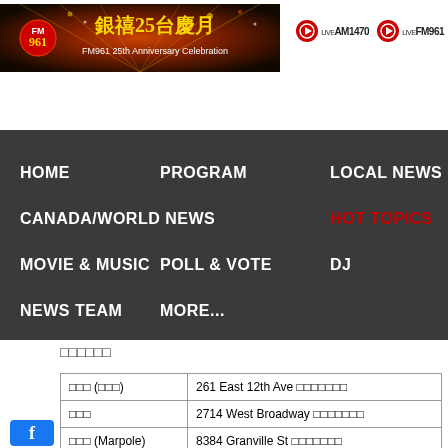[Figure (photo): FM961 25th Anniversary banner with colorful stage lighting, featuring Chinese characters 銀禧25台慶月 and FM961 25th Anniversary Celebration text]
[Figure (logo): Two live radio buttons: LIVE AM1470 and LIVE FM961, each with a red circular icon]
HOME   PROGRAM   LOCAL NEWS   CANADA/WORLD NEWS   HOT TOPICS   MOVIE & MUSIC   POLL & VOTE   DJ   NEWS TEAM   MORE...
□□□□□□
| □□□ (□□□) | 261 East 12th Ave □□□□□□□ |
| □□□ | 2714 West Broadway □□□□□□□ |
| □□□ (Marpole) | 8384 Granville St □□□□□□□ |
| □□□ | 2021 West 41st Ave □□□□□□□ |